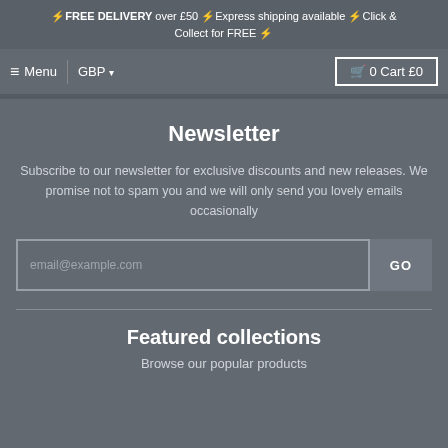⚡FREE DELIVERY over £50 ⚡Express shipping available ⚡Click & Collect for FREE ⚡
≡ Menu   GBP ▾   🛒 0 Cart £0
Newsletter
Subscribe to our newsletter for exclusive discounts and new releases. We promise not to spam you and we will only send you lovely emails occasionally
email@example.com   GO
Featured collections
Browse our popular products